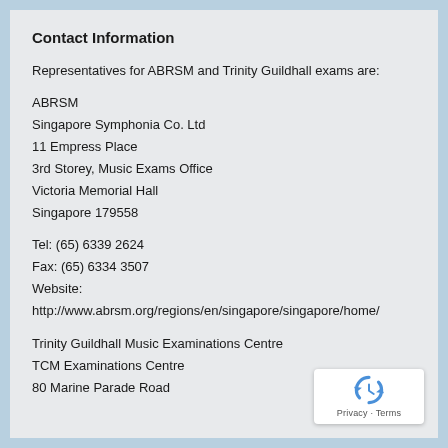Contact Information
Representatives for ABRSM and Trinity Guildhall exams are:
ABRSM
Singapore Symphonia Co. Ltd
11 Empress Place
3rd Storey, Music Exams Office
Victoria Memorial Hall
Singapore 179558
Tel: (65) 6339 2624
Fax: (65) 6334 3507
Website:
http://www.abrsm.org/regions/en/singapore/singapore/home/
Trinity Guildhall Music Examinations Centre
TCM Examinations Centre
80 Marine Parade Road